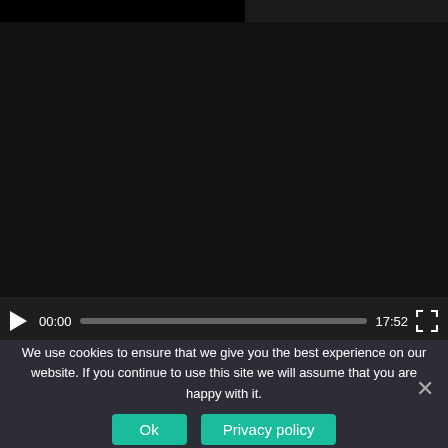[Figure (screenshot): Video player with dark background showing a paused video. Controls bar at bottom shows play button, timestamp 00:00, progress bar, duration 17:52, and fullscreen button.]
[Figure (screenshot): Thumbnail strip for next video with circular avatar photo of a man and title 'How to Writ...']
We use cookies to ensure that we give you the best experience on our website. If you continue to use this site we will assume that you are happy with it.
Ok
Privacy policy